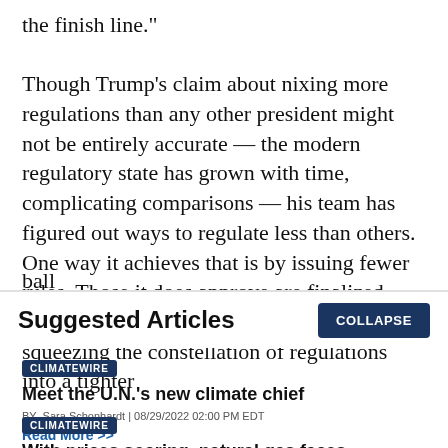the finish line." Though Trump's claim about nixing more regulations than any other president might not be entirely accurate — the modern regulatory state has grown with time, complicating comparisons — his team has figured out ways to regulate less than others. One way it achieves that is by issuing fewer rules. Those it does approve are finalized slowly. Together, that has the effect of squeezing the constellation of regulations into a tighter ball
Suggested Articles
COLLAPSE
CLIMATEWIRE
Meet the U.N.'s new climate chief
BY Sara Schonhardt | 08/29/2022 02:00 PM EDT
Read More >>
CLIMATEWIRE
With prices soaring, natural gas faces uncertain future